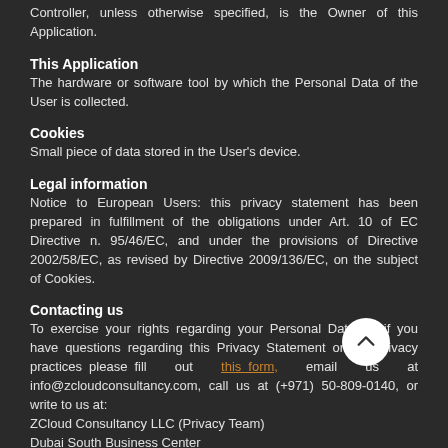Controller, unless otherwise specified, is the Owner of this Application.
This Application
The hardware or software tool by which the Personal Data of the User is collected.
Cookies
Small piece of data stored in the User's device.
Legal information
Notice to European Users: this privacy statement has been prepared in fulfillment of the obligations under Art. 10 of EC Directive n. 95/46/EC, and under the provisions of Directive 2002/58/EC, as revised by Directive 2009/136/EC, on the subject of Cookies.
Contacting us
To exercise your rights regarding your Personal Data, or if you have questions regarding this Privacy Statement or our privacy practices please fill out this form, email us at info@zcloudconsultancy.com, call us at (+971) 50-809-0140, or write to us at:
ZCloud Consultancy LLC (Privacy Team)
Dubai South Business Center